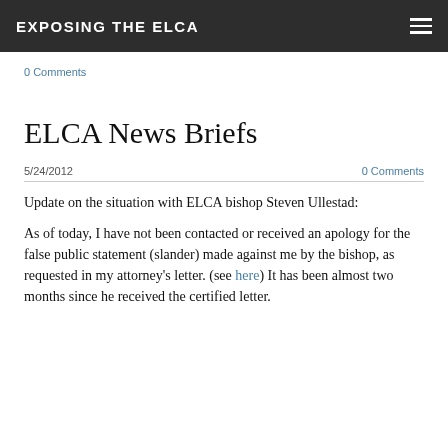EXPOSING THE ELCA
0 Comments
ELCA News Briefs
5/24/2012   0 Comments
Update on the situation with ELCA bishop Steven Ullestad:
As of today, I have not been contacted or received an apology for the false public statement (slander) made against me by the bishop, as requested in my attorney's letter.  (see here)  It has been almost two months since he received the certified letter.